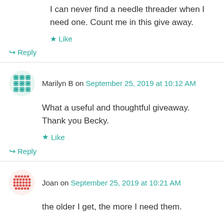I can never find a needle threader when I need one. Count me in this give away.
Like
↳ Reply
Marilyn B on September 25, 2019 at 10:12 AM
What a useful and thoughtful giveaway. Thank you Becky.
Like
↳ Reply
Joan on September 25, 2019 at 10:21 AM
the older I get, the more I need them.